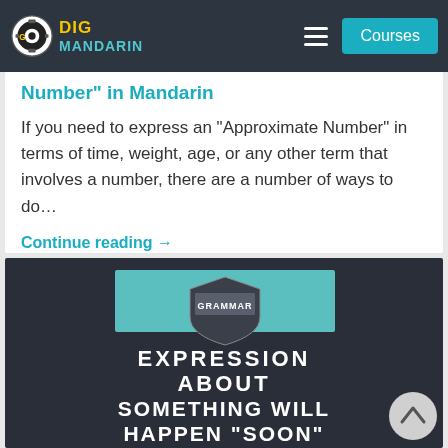Dig Mandarin | Courses
Number" in Mandarin
If you need to express an “Approximate Number” in terms of time, weight, age, or any other term that involves a number, there are a number of ways to do…
Continue reading →
[Figure (illustration): Dark card with teal Grammar badge/shield logo and white bold uppercase text: EXPRESSION ABOUT SOMETHING WILL HAPPEN “SOON”]